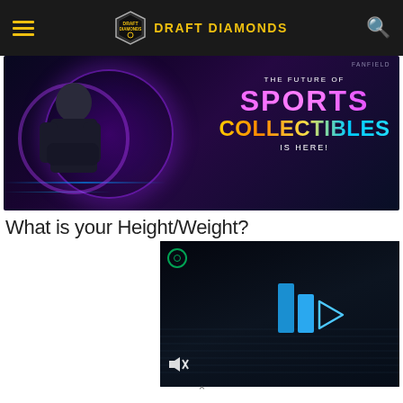DRAFT DIAMONDS
[Figure (photo): Advertisement banner for FanField showing a man with arms crossed against a purple neon background with text: THE FUTURE OF SPORTS COLLECTIBLES IS HERE!]
What is your Height/Weight?
[Figure (screenshot): Video player showing Draft Diamonds logo animation with pause button and mute icon on dark background]